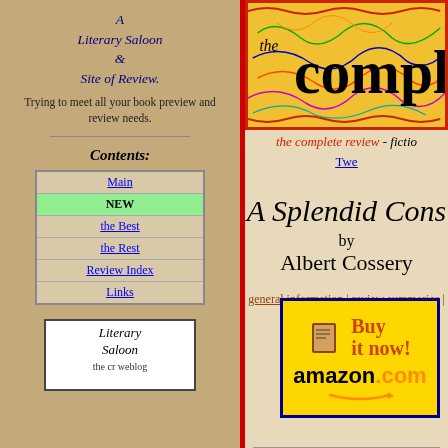A Literary Saloon & Site of Review.
Trying to meet all your book preview and review needs.
Contents:
Main
NEW
the Best
the Rest
Review Index
Links
[Figure (logo): Literary Saloon / the cr weblog logo box]
[Figure (logo): the complete review banner with colorful squiggles background]
the complete review - fictio
Twe
A Splendid Cons
by
Albert Cossery
general information | review summaries | our revie
[Figure (logo): Amazon Buy it now! button with book icon and amazon.com text]